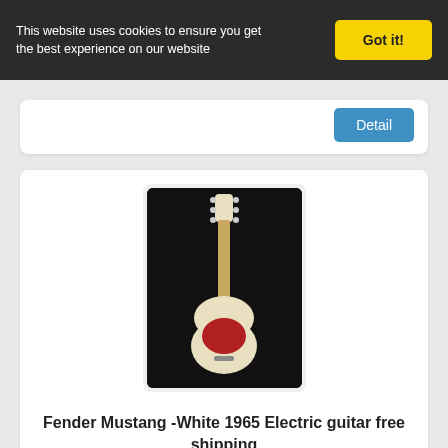This website uses cookies to ensure you get the best experience on our website
Got it!
[Figure (photo): Partial product card with a Detail button, cut off at top]
[Figure (photo): Fender Mustang White 1965 electric guitar on dark background]
Fender Mustang -White 1965 Electric guitar free shipping
Detail
[Figure (photo): Fender Mustang FSR Competition in Candy Apple Red guitar on slatted wall display]
Fender Mustang FSR Competition in Candy Apple Red with Course Competition Stri...